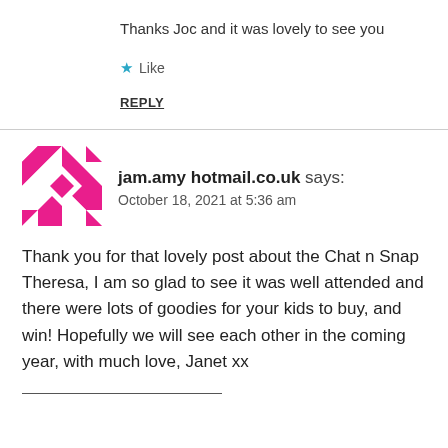Thanks Joc and it was lovely to see you
★ Like
REPLY
[Figure (illustration): Pink geometric quilt-pattern avatar icon for user jam.amy hotmail.co.uk]
jam.amy hotmail.co.uk says: October 18, 2021 at 5:36 am
Thank you for that lovely post about the Chat n Snap Theresa, I am so glad to see it was well attended and there were lots of goodies for your kids to buy, and win! Hopefully we will see each other in the coming year, with much love, Janet xx